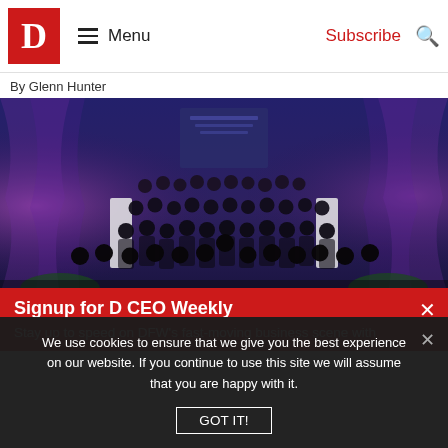D Magazine — Menu | Subscribe
By Glenn Hunter
[Figure (photo): Group photo of approximately 40 people in formal attire (tuxedos and evening wear) on a stage with purple and blue draped curtains and stage lighting in the background.]
Signup for D CEO Weekly
Stay up to speed on DFW's fast-moving business scene with
We use cookies to ensure that we give you the best experience on our website. If you continue to use this site we will assume that you are happy with it.
GOT IT!